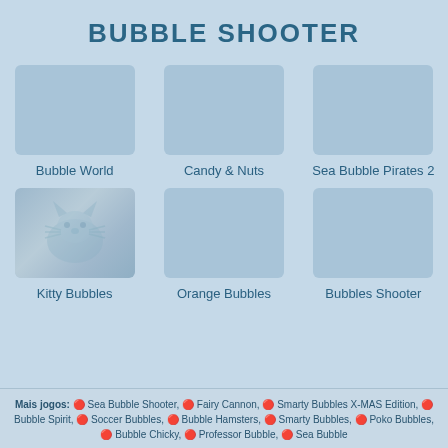BUBBLE SHOOTER
[Figure (screenshot): Game thumbnail placeholder for Bubble World]
[Figure (screenshot): Game thumbnail placeholder for Candy & Nuts]
[Figure (screenshot): Game thumbnail placeholder for Sea Bubble Pirates 2]
Bubble World
Candy & Nuts
Sea Bubble Pirates 2
[Figure (screenshot): Game thumbnail for Kitty Bubbles showing faint cat/bubble graphic]
[Figure (screenshot): Game thumbnail placeholder for Orange Bubbles]
[Figure (screenshot): Game thumbnail placeholder for Bubbles Shooter]
Kitty Bubbles
Orange Bubbles
Bubbles Shooter
Mais jogos: 🔴 Sea Bubble Shooter, 🔴 Fairy Cannon, 🔴 Smarty Bubbles X-MAS Edition, 🔴 Bubble Spirit, 🔴 Soccer Bubbles, 🔴 Bubble Hamsters, 🔴 Smarty Bubbles, 🔴 Poko Bubbles, 🔴 Bubble Chicky, 🔴 Professor Bubble, 🔴 Sea Bubble...